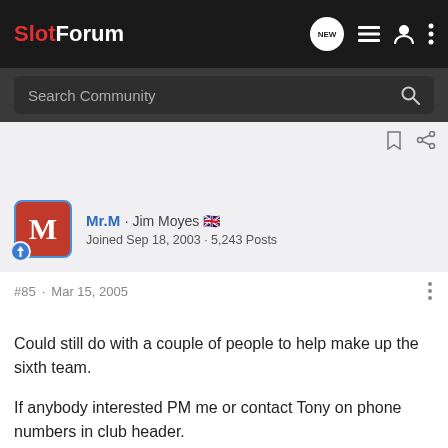SlotForum
Search Community
Mr.M · Jim Moyes  Joined Sep 18, 2003 · 5,243 Posts
#85 · Mar 15, 2005
Could still do with a couple of people to help make up the sixth team.

If anybody interested PM me or contact Tony on phone numbers in club header.